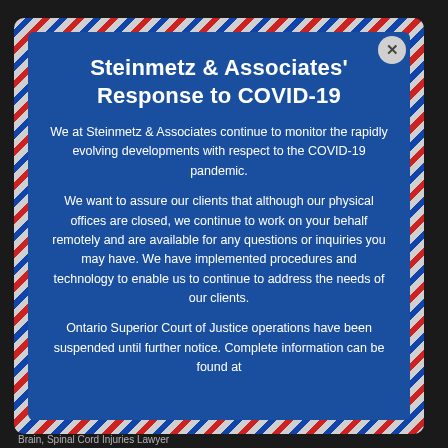Steinmetz & Associates' Response to COVID-19
We at Steinmetz & Associates continue to monitor the rapidly evolving developments with respect to the COVID-19 pandemic.
We want to assure our clients that although our physical offices are closed, we continue to work on your behalf remotely and are available for any questions or inquiries you may have. We have implemented procedures and technology to enable us to continue to address the needs of our clients.
Ontario Superior Court of Justice operations have been suspended until further notice. Complete information can be found at
Brain, Spinal Cord Injuries Lawyer